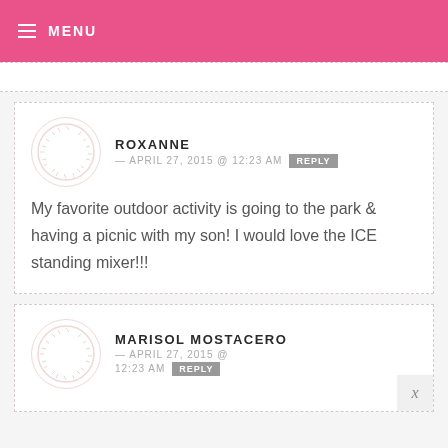MENU
ROXANNE — APRIL 27, 2015 @ 12:23 AM  REPLY
My favorite outdoor activity is going to the park & having a picnic with my son! I would love the ICE standing mixer!!!
MARISOL MOSTACERO — APRIL 27, 2015 @ 12:23 AM  REPLY